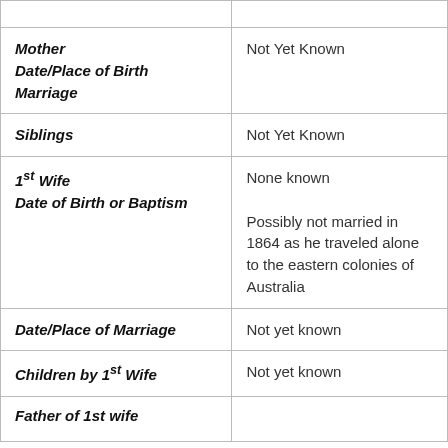| Field | Value |
| --- | --- |
| Mother
Date/Place of Birth
Marriage | Not Yet Known |
| Siblings | Not Yet Known |
| 1st Wife
Date of Birth or Baptism | None known
Possibly not married in 1864 as he traveled alone to the eastern colonies of Australia |
| Date/Place of Marriage | Not yet known |
| Children by 1st Wife | Not yet known |
| Father of 1st wife |  |